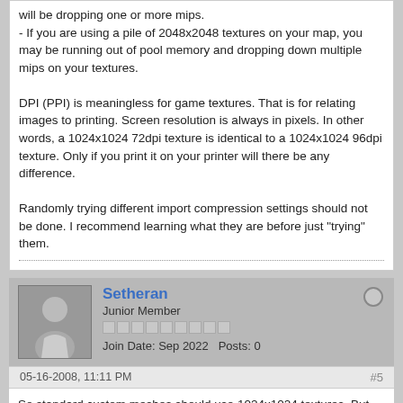will be dropping one or more mips.
- If you are using a pile of 2048x2048 textures on your map, you may be running out of pool memory and dropping down multiple mips on your textures.

DPI (PPI) is meaningless for game textures. That is for relating images to printing. Screen resolution is always in pixels. In other words, a 1024x1024 72dpi texture is identical to a 1024x1024 96dpi texture. Only if you print it on your printer will there be any difference.

Randomly trying different import compression settings should not be done. I recommend learning what they are before just "trying" them.
Setheran
Junior Member
Join Date: Sep 2022   Posts: 0
05-16-2008, 11:11 PM
#5
So standard custom meshes should use 1024x1024 textures. But why do a lot of Epic's meshes use textures at 2048x2048 (in the World LoD group too, I'm pretty sure) if that size isn't supported?